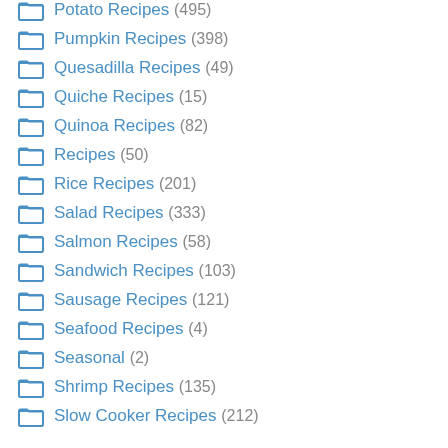Potato Recipes (495)
Pumpkin Recipes (398)
Quesadilla Recipes (49)
Quiche Recipes (15)
Quinoa Recipes (82)
Recipes (50)
Rice Recipes (201)
Salad Recipes (333)
Salmon Recipes (58)
Sandwich Recipes (103)
Sausage Recipes (121)
Seafood Recipes (4)
Seasonal (2)
Shrimp Recipes (135)
Slow Cooker Recipes (212)